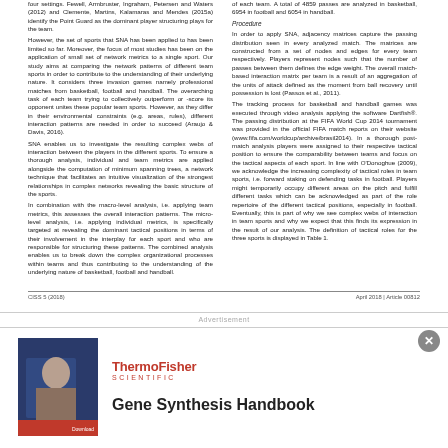four settings. Fewell, Armbruster, Ingraham, Petersen and Waters (2012) and Clemente, Martins, Kalamaras and Mendes (2015a) identify the Point Guard as the dominant player structuring plays for the team.
However, the set of sports that SNA has been applied to has been limited so far. Moreover, the focus of most studies has been on the application of small set of network metrics to a single sport. Our study aims at comparing the network patterns of different team sports in order to contribute to the understanding of their underlying nature. It considers three invasion games namely professional matches from basketball, football and handball. The overarching task of each team trying to collectively outperform or -score its opponent unites these popular team sports. However, as they differ in their environmental constraints (e.g. areas, rules), different interaction patterns are needed in order to succeed (Araujo & Davis, 2016).
SNA enables us to investigate the resulting complex webs of interaction between the players in the different sports. To ensure a thorough analysis, individual and team metrics are applied alongside the computation of minimum spanning trees, a network technique that facilitates an intuitive visualization of the strongest relationships in complex networks revealing the basic structure of the sports.
In combination with the macro-level analysis, i.e. applying team metrics, this assesses the overall interaction patterns. The micro-level analysis, i.e. applying individual metrics, is specifically targeted at revealing the dominant tactical positions in terms of their involvement in the interplay for each sport and who are responsible for structuring these patterns. The combined analysis enables us to break down the complex organizational processes within teams and thus contributing to the understanding of the underlying nature of basketball, football and handball.
of each team. A total of 4859 passes are analyzed in basketball, 6954 in football and 6054 in handball.
Procedure
In order to apply SNA, adjacency matrices capture the passing distribution seen in every analyzed match. The matrices are constructed from a set of nodes and edges for every team respectively. Players represent nodes such that the number of passes between them defines the edge weight. The overall match-based interaction matrix per team is a result of an aggregation of the units of attack defined as the moment from ball recovery until possession is lost (Passos et al., 2011).
The tracking process for basketball and handball games was executed through video analysis applying the software Dartfish®. The passing distribution at the FIFA World Cup 2014 tournament was provided in the official FIFA match reports on their website (www.fifa.com/worldcup/archive/brasil2014). In a thorough post-match analysis players were assigned to their respective tactical position to ensure the comparability between teams and focus on the tactical aspects of each sport. In line with O'Donoghue (2009), we acknowledge the increasing complexity of tactical roles in team sports, i.e. forward staking on defending tasks in football. Players might temporarily occupy different areas on the pitch and fulfill different tasks which can be acknowledged as part of the role repertoire of the different tactical positions, especially in football. Eventually, this is part of why we see complex webs of interaction in team sports and why we expect that this finds its expression in the result of our analysis. The definition of tactical roles for the three sports is displayed in Table 1.
CISS 5 (2018)                                                              April 2018 | Article 00812
Advertisement
[Figure (photo): Advertisement image showing a person with Thermo Fisher Scientific branding]
ThermoFisher SCIENTIFIC
Gene Synthesis Handbook